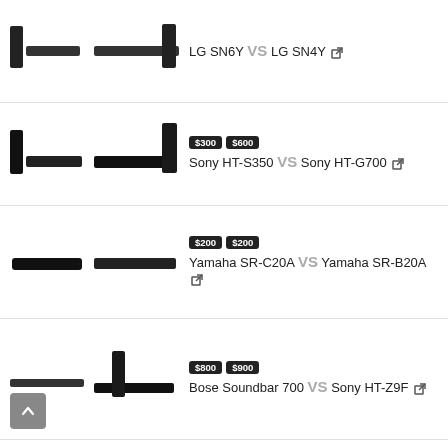[Figure (photo): LG SN6Y soundbar and subwoofer product images side by side]
LG SN6Y VS LG SN4Y ↗
[Figure (photo): Sony HT-S350 and Sony HT-G700 soundbar product images side by side]
$300  $600
Sony HT-S350 VS Sony HT-G700 ↗
[Figure (photo): Yamaha SR-C20A and Yamaha SR-B20A soundbar product images side by side]
$200  $200
Yamaha SR-C20A VS Yamaha SR-B20A ↗
[Figure (photo): Bose Soundbar 700 and Sony HT-Z9F product images side by side]
$800  $900
Bose Soundbar 700 VS Sony HT-Z9F ↗